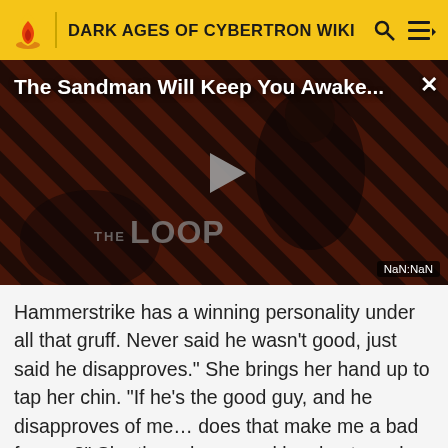DARK AGES OF CYBERTRON WIKI
[Figure (screenshot): Video player thumbnail showing 'The Sandman Will Keep You Awake...' with a dark-dressed figure against diagonal red/dark stripes, THE LOOP branding, a play button, and NaN:NaN timestamp.]
Hammerstrike has a winning personality under all that gruff. Never said he wasn't good, just said he disapproves." She brings her hand up to tap her chin. "If he's the good guy, and he disapproves of me... does that make me a bad femme?" She then shrugs and laughs, to make it clear